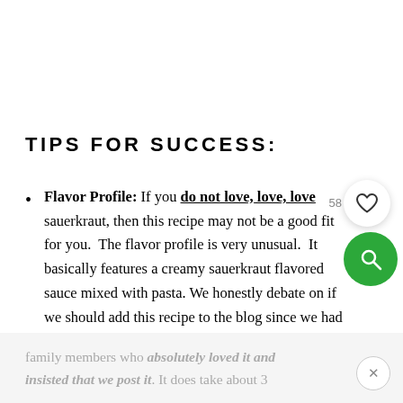TIPS FOR SUCCESS:
Flavor Profile: If you do not love, love, love sauerkraut, then this recipe may not be a good fit for you. The flavor profile is very unusual. It basically features a creamy sauerkraut flavored sauce mixed with pasta. We honestly debate on if we should add this recipe to the blog since we had family members who truly hated this – LOL. However, on the other hand, we also had
family members who absolutely loved it and insisted that we post it. It does take about 3